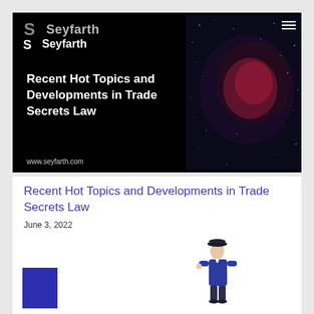[Figure (screenshot): Seyfarth law firm presentation slide cover with black background, Seyfarth logo (gray and white), title 'Recent Hot Topics and Developments in Trade Secrets Law' in white bold text on left side, nebula/galaxy image on right side, www.seyfarth.com at bottom left]
Recent Hot Topics and Developments in Trade Secrets Law
June 3, 2022
[Figure (illustration): Partial illustration showing a colonial-era figure in blue coat and tricorn hat, and a blue rectangle in the bottom left corner]